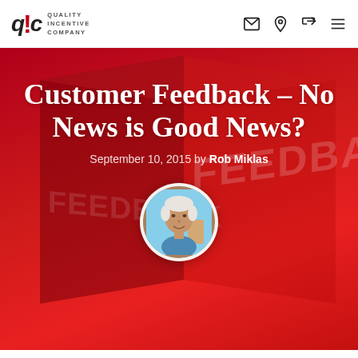q!c Quality Incentive Company
Customer Feedback – No News is Good News?
September 10, 2015 by Rob Miklas
[Figure (photo): Circular author headshot of Rob Miklas, a smiling older man with white hair, overlaid on a red 3D feedback box background.]